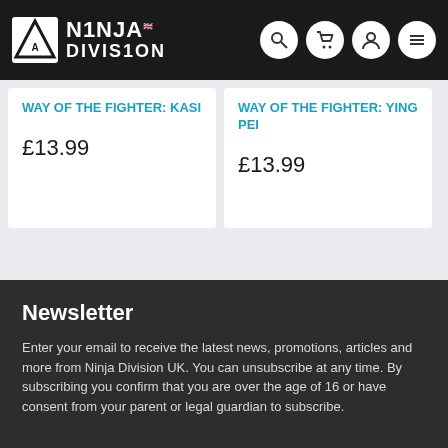NINJA DIVISION
WAY OF THE FIGHTER: KASI
£13.99
WAY OF THE FIGHTER: YING PEI
£13.99
Newsletter
Enter your email to receive the latest news, promotions, articles and more from Ninja Division UK. You can unsubscribe at any time. By subscribing you confirm that you are over the age of 16 or have consent from your parent or legal guardian to subscribe.